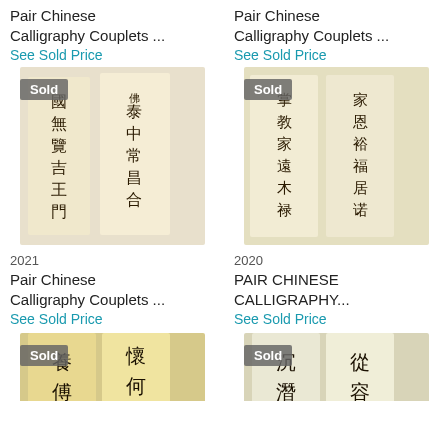Pair Chinese Calligraphy Couplets ...
See Sold Price
Pair Chinese Calligraphy Couplets ...
See Sold Price
[Figure (photo): Two Chinese calligraphy scroll couplets with Sold badge, 2021]
[Figure (photo): Two Chinese calligraphy scroll couplets with Sold badge, 2020]
2021
Pair Chinese Calligraphy Couplets ...
See Sold Price
2020
PAIR CHINESE CALLIGRAPHY...
See Sold Price
[Figure (photo): Two Chinese calligraphy scroll couplets with Sold badge, partial view]
[Figure (photo): Two Chinese calligraphy scroll couplets with Sold badge, partial view]